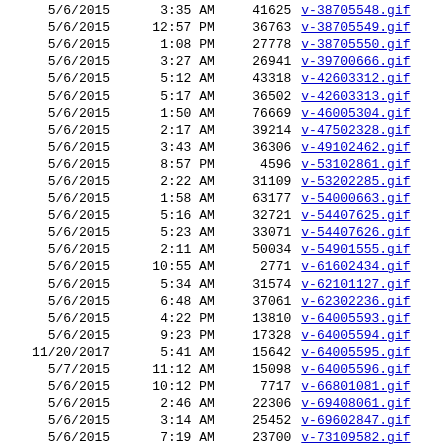| Date | Time | Size | Filename |
| --- | --- | --- | --- |
| 5/6/2015 | 3:35 AM | 41625 | v-38705548.gif |
| 5/6/2015 | 12:57 PM | 36763 | v-38705549.gif |
| 5/6/2015 | 1:08 PM | 27778 | v-38705550.gif |
| 5/6/2015 | 3:27 AM | 26941 | v-39700666.gif |
| 5/6/2015 | 5:12 AM | 43318 | v-42603312.gif |
| 5/6/2015 | 5:17 AM | 36502 | v-42603313.gif |
| 5/6/2015 | 1:50 AM | 76669 | v-46005304.gif |
| 5/6/2015 | 2:17 AM | 39214 | v-47502328.gif |
| 5/6/2015 | 3:43 AM | 36306 | v-49102462.gif |
| 5/6/2015 | 8:57 PM | 4596 | v-53102861.gif |
| 5/6/2015 | 2:22 AM | 31109 | v-53202285.gif |
| 5/6/2015 | 1:58 AM | 63177 | v-54000663.gif |
| 5/6/2015 | 5:16 AM | 32721 | v-54407625.gif |
| 5/6/2015 | 5:23 AM | 33071 | v-54407626.gif |
| 5/6/2015 | 2:11 AM | 50034 | v-54901555.gif |
| 5/6/2015 | 10:55 AM | 2771 | v-61602434.gif |
| 5/6/2015 | 5:34 AM | 31574 | v-62101127.gif |
| 5/6/2015 | 6:48 AM | 37061 | v-62302236.gif |
| 5/6/2015 | 4:22 PM | 13810 | v-64005593.gif |
| 5/6/2015 | 9:23 PM | 17328 | v-64005594.gif |
| 11/20/2017 | 5:41 AM | 15642 | v-64005595.gif |
| 5/7/2015 | 11:12 AM | 15098 | v-64005596.gif |
| 5/6/2015 | 10:12 PM | 7717 | v-66801081.gif |
| 5/6/2015 | 2:46 AM | 22306 | v-69408061.gif |
| 5/6/2015 | 3:14 AM | 25452 | v-69602847.gif |
| 5/6/2015 | 7:19 AM | 23700 | v-73109582.gif |
| 5/6/2015 | 7:23 AM | 23700 | v-73109583.gif |
| 5/6/2015 | 7:38 AM | 26726 | v-73109584.gif |
| 5/6/2015 | 7:42 AM | 26289 | v-73109585.gif |
| 5/6/2015 | 7:56 AM | 18818 | v-73109586.gif |